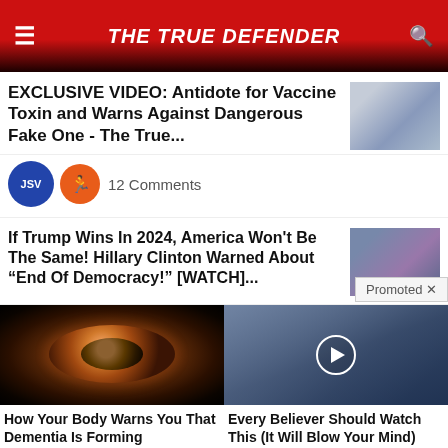THE TRUE DEFENDER
EXCLUSIVE VIDEO: Antidote for Vaccine Toxin and Warns Against Dangerous Fake One - The True...
12 Comments
If Trump Wins In 2024, America Won't Be The Same! Hillary Clinton Warned About “End Of Democracy!” [WATCH]...
Promoted ×
[Figure (photo): Close-up photo of a human eye with detailed iris]
How Your Body Warns You That Dementia Is Forming
🔥 40,231
[Figure (photo): Photo of political figures with play button overlay]
Every Believer Should Watch This (It Will Blow Your Mind)
🔥 379,007